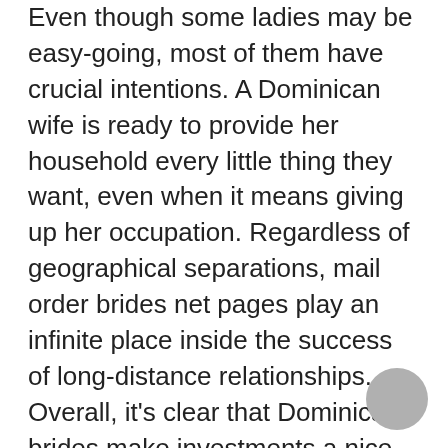Even though some ladies may be easy-going, most of them have crucial intentions. A Dominican wife is ready to provide her household every little thing they want, even when it means giving up her occupation. Regardless of geographical separations, mail order brides net pages play an infinite place inside the success of long-distance relationships. Overall, it's clear that Dominican brides make investments a nice deal of effort and time into their look.
Pride, sleek movements, and passion… You know whenever you see a Dominican lady as a outcome of she looks like a queen. Being one of the desired ladies, Dominican mail order brides actively seek a husband on international relationship websites. To see a website with